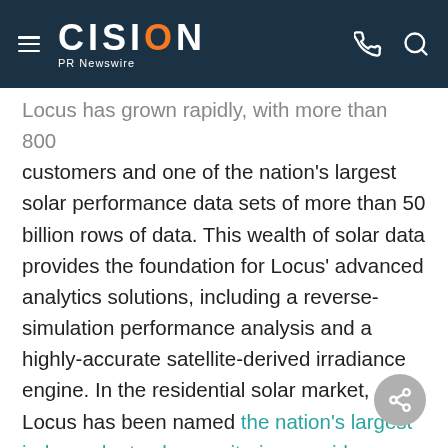CISION PR Newswire
Locus has grown rapidly, with more than 800 customers and one of the nation's largest solar performance data sets of more than 50 billion rows of data. This wealth of solar data provides the foundation for Locus' advanced analytics solutions, including a reverse-simulation performance analysis and a highly-accurate satellite-derived irradiance engine. In the residential solar market, Locus has been named the nation's largest independent solar monitoring provider.
Each year a panel of industry experts from, academia, corporations, utilities, finance and technology incubators, selects ten New Energy Pioneers for their